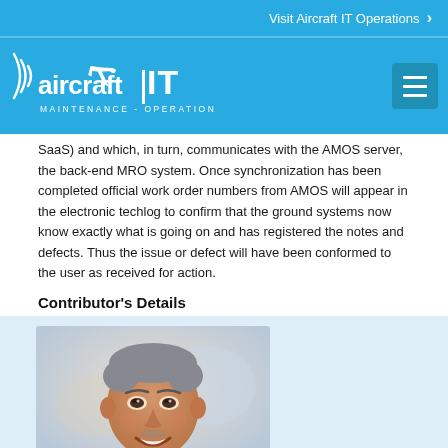Visit Aircraft IT Operations ›
[Figure (logo): Aircraft IT Maintenance - Operations logo with airplane icon on blue background]
SaaS) and which, in turn, communicates with the AMOS server, the back-end MRO system. Once synchronization has been completed official work order numbers from AMOS will appear in the electronic techlog to confirm that the ground systems now know exactly what is going on and has registered the notes and defects. Thus the issue or defect will have been conformed to the user as received for action.
Contributor's Details
[Figure (photo): Headshot photo of a middle-aged man with short grey hair, smiling, wearing dark clothing, light background]